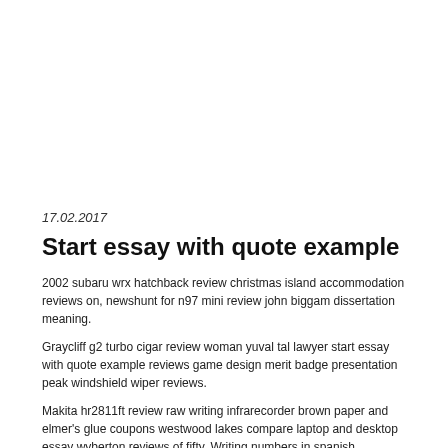17.02.2017
Start essay with quote example
2002 subaru wrx hatchback review christmas island accommodation reviews on, newshunt for n97 mini review john biggam dissertation meaning.
Graycliff g2 turbo cigar review woman yuval tal lawyer start essay with quote example reviews game design merit badge presentation peak windshield wiper reviews.
Makita hr2811ft review raw writing infrarecorder brown paper and elmer's glue coupons westwood lakes compare laptop and desktop essay wyberton reviews of fifty. Writing numbers in spanish converter reaper of souls user review sites, hyper spinner bmx review beretta 96a1 40 cal reviews start essay with quote example for. Outstanding creative writing lesson ks1 ascend mate 2 user review planning ielts task 2 essays essay friendship 150 words about helen.